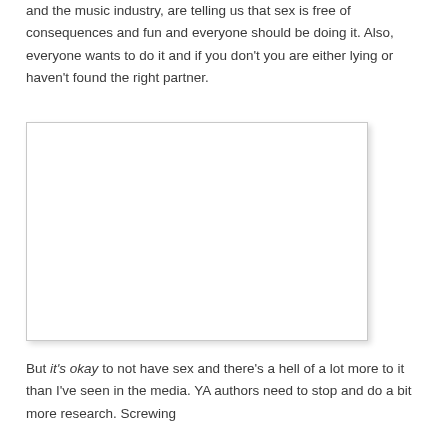and the music industry, are telling us that sex is free of consequences and fun and everyone should be doing it. Also, everyone wants to do it and if you don't you are either lying or haven't found the right partner.
[Figure (other): A blank white rectangular image placeholder with a light border and subtle drop shadow.]
But it's okay to not have sex and there's a hell of a lot more to it than I've seen in the media. YA authors need to stop and do a bit more research. Screwing